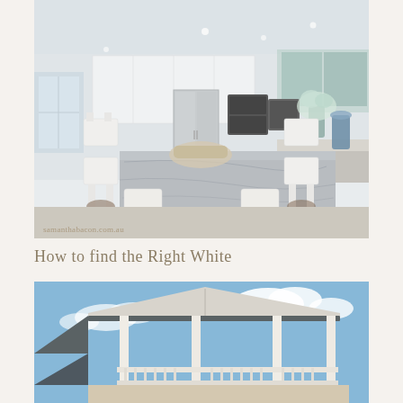[Figure (photo): Bright white modern kitchen and dining area with a large grey marble island table surrounded by white cross-back chairs, stainless steel appliances, white cabinetry, and blue glass accents. Watermark reads samanthabacon.com.au]
How to find the Right White
[Figure (photo): Exterior of a house with a covered porch/veranda structure, cream/white painted beams and railings, with a blue sky and white clouds in the background]